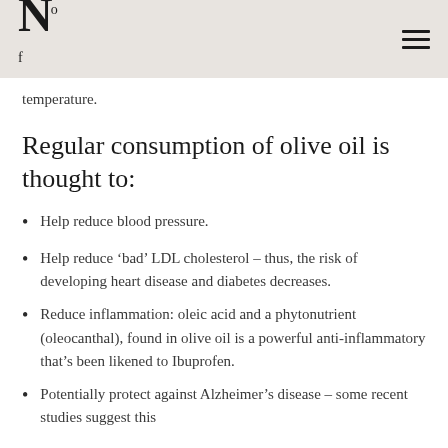N
temperature.
Regular consumption of olive oil is thought to:
Help reduce blood pressure.
Help reduce ‘bad’ LDL cholesterol – thus, the risk of developing heart disease and diabetes decreases.
Reduce inflammation: oleic acid and a phytonutrient (oleocanthal), found in olive oil is a powerful anti-inflammatory that’s been likened to Ibuprofen.
Potentially protect against Alzheimer’s disease – some recent studies suggest this